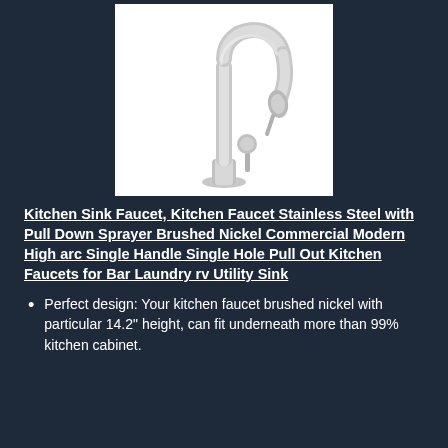[Figure (photo): A stainless steel brushed nickel kitchen sink faucet with a high arc gooseneck spout and pull-down sprayer, single handle, shown on a white background.]
Kitchen Sink Faucet, Kitchen Faucet Stainless Steel with Pull Down Sprayer Brushed Nickel Commercial Modern High arc Single Handle Single Hole Pull Out Kitchen Faucets for Bar Laundry rv Utility Sink
Perfect design: Your kitchen faucet brushed nickel with particular 14.2" height, can fit underneath more than 99% kitchen cabinet.